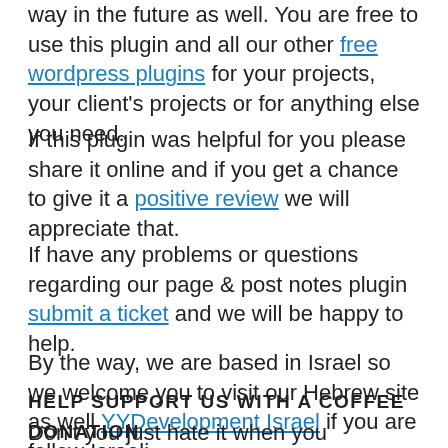way in the future as well. You are free to use this plugin and all our other free wordpress plugins for your projects, your client's projects or for anything else you need.
If this plugin was helpful for you please share it online and if you get a chance to give it a positive review we will appreciate that.
If have any problems or questions regarding our page & post notes plugin submit a ticket and we will be happy to help.
By the way, we are based in Israel so we welcome you to visit our Hebrew site as well YYDevelopment Israel if you are fellow Israeli.
HELP SUPPORT US WITH A COFFEE DONATION
Don't you just hate it when you download a plugin